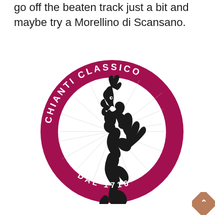go off the beaten track just a bit and maybe try a Morellino di Scansano.
[Figure (logo): Chianti Classico circular logo featuring a black rooster (Gallo Nero) silhouette in the center on a white background, surrounded by a dark magenta/crimson ring with the text 'CHIANTI CLASSICO' arched along the top and 'DAL 1716' along the bottom, with radiating lines behind the rooster.]